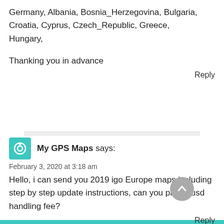Germany, Albania, Bosnia_Herzegovina, Bulgaria, Croatia, Cyprus, Czech_Republic, Greece, Hungary,
Thanking you in advance
Reply
My GPS Maps says:
February 3, 2020 at 3:18 am
Hello, i can send you 2019 igo Europe maps including step by step update instructions, can you pay 10usd handling fee?
Reply